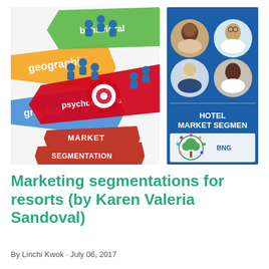[Figure (infographic): Market segmentation infographic with colored arrows (yellow geographic, blue demographic, green behavioral, red psychographic) and blue human figures, with 'MARKET SEGMENTATION' text on red banners]
[Figure (infographic): Hotel Market Segmentation infographic on blue background showing four circular avatar portraits (diverse people) and text 'HOTEL MARKET SEGMEN' with a BNG logo tree graphic at bottom]
Marketing segmentations for resorts (by Karen Valeria Sandoval)
By Linchi Kwok · July 06, 2017